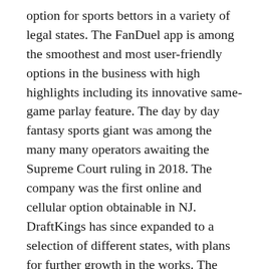option for sports bettors in a variety of legal states. The FanDuel app is among the smoothest and most user-friendly options in the business with high highlights including its innovative same-game parlay feature. The day by day fantasy sports giant was among the many many operators awaiting the Supreme Court ruling in 2018. The company was the first online and cellular option obtainable in NJ. DraftKings has since expanded to a selection of different states, with plans for further growth in the works. The DraftKings Sportsbook app is known for having a slick platform and live betting feature. Here are a few of the prime options out there in a number of states. Sports betting is one of the simplest ways to get closer to the motion with all your favorite sports. Sports Betting Dime has been helping fans and bettors navigate challenges and find success for years, with all of the critical data they should bet confidently on any matchup. A